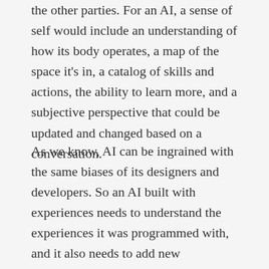the other parties. For an AI, a sense of self would include an understanding of how its body operates, a map of the space it’s in, a catalog of skills and actions, the ability to learn more, and a subjective perspective that could be updated and changed based on a conversation.
As we know, AI can be ingrained with the same biases of its designers and developers. So an AI built with experiences needs to understand the experiences it was programmed with, and it also needs to add new experiences to its memory — just like a human. Thus, to truly relate to and connect with humans, an AI needs a physical body.